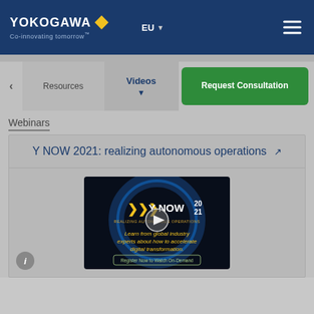YOKOGAWA Co-innovating tomorrow — EU — navigation header
Resources | Videos | Request Consultation
Webinars
Y NOW 2021: realizing autonomous operations
[Figure (screenshot): Y NOW 2021 promotional video thumbnail showing circular blue design with arrows logo, text 'Learn from global industry experts about how to accelerate digital transformation.' and a 'Register Now to Watch On-Demand' button, with a play button overlay in the center.]